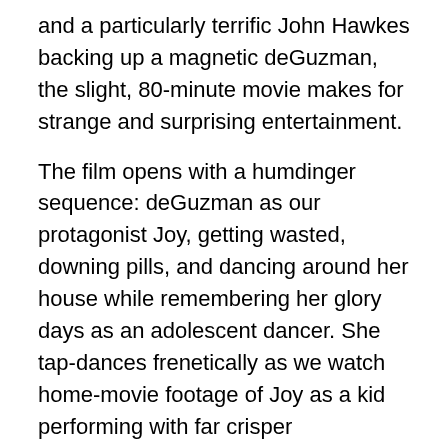and a particularly terrific John Hawkes backing up a magnetic deGuzman, the slight, 80-minute movie makes for strange and surprising entertainment.
The film opens with a humdinger sequence: deGuzman as our protagonist Joy, getting wasted, downing pills, and dancing around her house while remembering her glory days as an adolescent dancer. She tap-dances frenetically as we watch home-movie footage of Joy as a kid performing with far crisper movements across an auditorium stage. The editing is swift, the energy taut, and when Joy collapses on the ground to vomit up those pills at last (she couldn't even get killing herself right, she laments in voiceover), we, too, breathe a sigh of relief, perhaps not realizing we had been holding our breath as the music built. It is one weirdly great opening sequence.
The rest of the movie never matches the fun anarchy of its introduction to our heroine, she cast in the by-now-